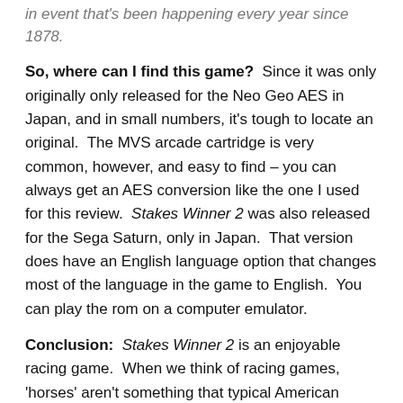in event that's been happening every year since 1878.
So, where can I find this game? Since it was only originally only released for the Neo Geo AES in Japan, and in small numbers, it's tough to locate an original. The MVS arcade cartridge is very common, however, and easy to find – you can always get an AES conversion like the one I used for this review. Stakes Winner 2 was also released for the Sega Saturn, only in Japan. That version does have an English language option that changes most of the language in the game to English. You can play the rom on a computer emulator.
Conclusion: Stakes Winner 2 is an enjoyable racing game. When we think of racing games, 'horses' aren't something that typical American gamers think of, but that's a shame, because this game, like its predecessor, is addictive. It's not difficult to win races, even on Hard